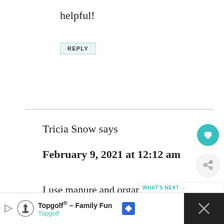helpful!
REPLY
Tricia Snow says
February 9, 2021 at 12:12 am
I use manure and organic m mulch. But that is not cheap.
[Figure (infographic): WHAT'S NEXT panel with thumbnail image and text: 9 Flowers You Should Plan...]
Topgolf® - Family Fun Topgolf (advertisement bar)